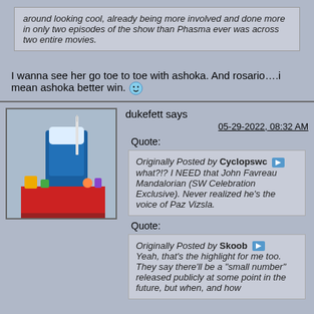around looking cool, already being more involved and done more in only two episodes of the show than Phasma ever was across two entire movies.
I wanna see her go toe to toe with ashoka. And rosario….i mean ashoka better win. 😉
dukefett says
05-29-2022, 08:32 AM
Quote:
Originally Posted by Cyclopswc
what?!? I NEED that John Favreau Mandalorian (SW Celebration Exclusive). Never realized he's the voice of Paz Vizsla.
Quote:
Originally Posted by Skoob
Yeah, that's the highlight for me too. They say there'll be a "small number" released publicly at some point in the future, but when, and how
[Figure (photo): Avatar image showing what appears to be a toy/figure display with blue and white elements on a red surface]